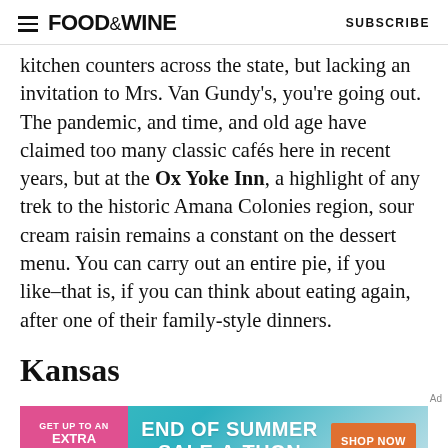FOOD&WINE   SUBSCRIBE
kitchen counters across the state, but lacking an invitation to Mrs. Van Gundy's, you're going out. The pandemic, and time, and old age have claimed too many classic cafés here in recent years, but at the Ox Yoke Inn, a highlight of any trek to the historic Amana Colonies region, sour cream raisin remains a constant on the dessert menu. You can carry out an entire pie, if you like–that is, if you can think about eating again, after one of their family-style dinners.
Kansas
[Figure (other): Advertisement banner: GET UP TO AN EXTRA 50% OFF — END OF SUMMER SALE-A-THON — SHOP NOW]